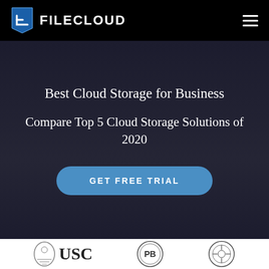FILECLOUD
Best Cloud Storage for Business
Compare Top 5 Cloud Storage Solutions of 2020
GET FREE TRIAL
[Figure (logo): USC university logo — shield emblem with 'USC' text]
[Figure (logo): PB circular badge logo]
[Figure (logo): Circular emblem logo (third brand)]